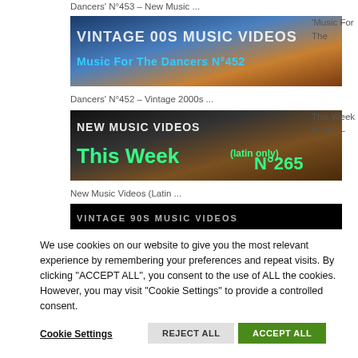Dancers' N°453 – New Music ...
[Figure (screenshot): Thumbnail image for 'Vintage 00s Music Videos – Music For The Dancers N°452' showing text overlay on colorful background]
'Music For The
Dancers' N°452 – Vintage 2000s ...
[Figure (screenshot): Thumbnail image for 'New Music Videos This Week (latin only) N°265' with green text overlay]
This Week N°265 –
New Music Videos (Latin ...
[Figure (screenshot): Partial thumbnail image showing vintage 90s music text overlay]
We use cookies on our website to give you the most relevant experience by remembering your preferences and repeat visits. By clicking "ACCEPT ALL", you consent to the use of ALL the cookies. However, you may visit "Cookie Settings" to provide a controlled consent.
Cookie Settings
REJECT ALL
ACCEPT ALL